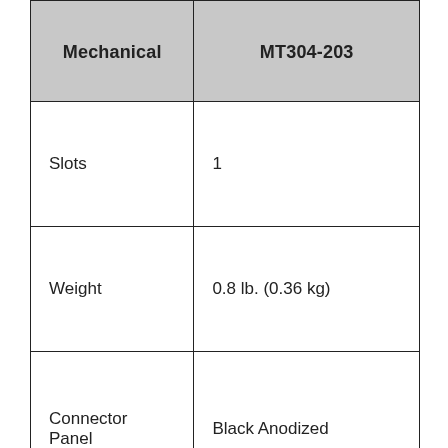| Mechanical | MT304-203 |
| --- | --- |
| Slots | 1 |
| Weight | 0.8 lb. (0.36 kg) |
| Connector Panel | Black Anodized |
| T° Operating | 10°C-45°C |
| Humidity | 90% non-condensing |